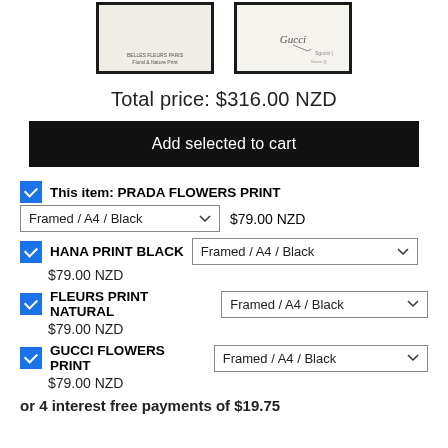[Figure (photo): Two framed art prints side by side: left is a Prada Fleurs Paris print in a black frame, right is a Gucci print in a black frame]
Total price: $316.00 NZD
Add selected to cart
This item: PRADA FLOWERS PRINT — Framed / A4 / Black — $79.00 NZD
HANA PRINT BLACK — Framed / A4 / Black — $79.00 NZD
FLEURS PRINT NATURAL — Framed / A4 / Black — $79.00 NZD
GUCCI FLOWERS PRINT — Framed / A4 / Black — $79.00 NZD
or 4 interest free payments of $19.75